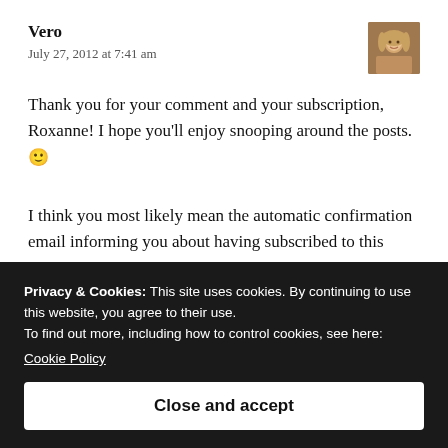Vero
July 27, 2012 at 7:41 am
[Figure (photo): Avatar photo of a blonde woman]
Thank you for your comment and your subscription, Roxanne! I hope you'll enjoy snooping around the posts. 🙂
I think you most likely mean the automatic confirmation email informing you about having subscribed to this blog,
Privacy & Cookies: This site uses cookies. By continuing to use this website, you agree to their use.
To find out more, including how to control cookies, see here:
Cookie Policy
Close and accept